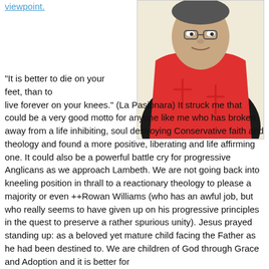viewpoint.
[Figure (illustration): Stylized illustration of a person wearing a red robe/vestment and clerical collar, depicted in a pop-art style with bold colors against a light yellow background.]
"It is better to die on your feet, than to live forever on your knees." (La Pasionara) It struck me that could be a very good motto for anyone like me who has broken away from a life inhibiting, soul destroying Conservative faith and theology and found a more positive, liberating and life affirming one. It could also be a powerful battle cry for progressive Anglicans as we approach Lambeth. We are not going back into kneeling position in thrall to a reactionary theology to please a majority or even ++Rowan Williams (who has an awful job, but who really seems to have given up on his progressive principles in the quest to preserve a rather spurious unity). Jesus prayed standing up: as a beloved yet mature child facing the Father as he had been destined to. We are children of God through Grace and Adoption and it is better for